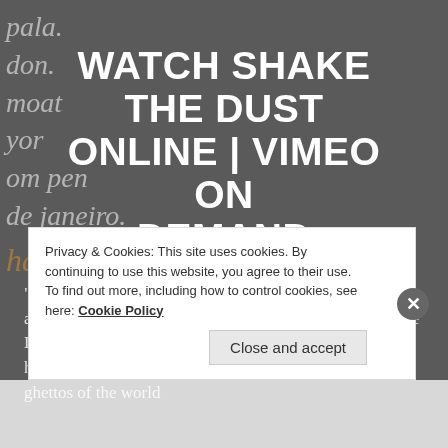WATCH SHAKE THE DUST ONLINE | VIMEO ON DEMAND
“From executive producer and rapper Nasir “Nas” Jones and journalist-turned-filmmaker Adam Sjöberg, Shake the Dust chronicles the influence of breakdancing, exploring how it strikes a resonant chord in the slums, favelas and ghettos of the world
Privacy & Cookies: This site uses cookies. By continuing to use this website, you agree to their use.
To find out more, including how to control cookies, see here: Cookie Policy
Close and accept